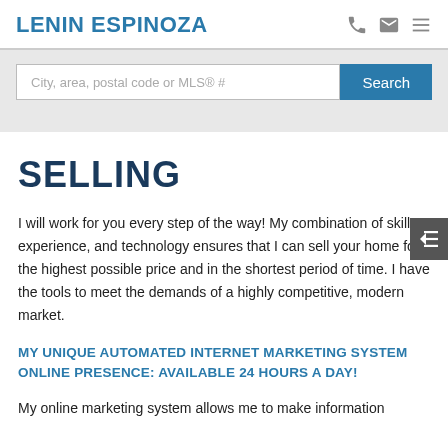LENIN ESPINOZA
City, area, postal code or MLS® #
SELLING
I will work for you every step of the way! My combination of skill, experience, and technology ensures that I can sell your home for the highest possible price and in the shortest period of time. I have the tools to meet the demands of a highly competitive, modern market.
MY UNIQUE AUTOMATED INTERNET MARKETING SYSTEM ONLINE PRESENCE: AVAILABLE 24 HOURS A DAY!
My online marketing system allows me to make information